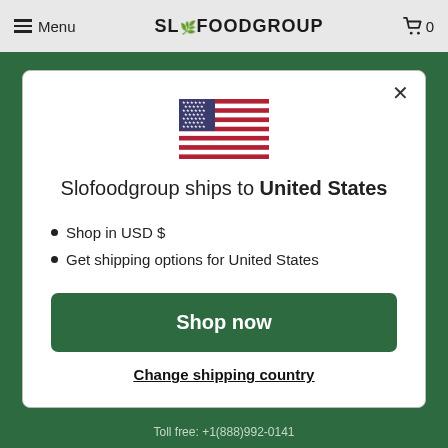Menu | SLOFOODGROUP | 0
[Figure (illustration): US flag emoji/icon centered in modal]
Slofoodgroup ships to United States
Shop in USD $
Get shipping options for United States
Shop now
Change shipping country
Toll free: +1(888)992-0141